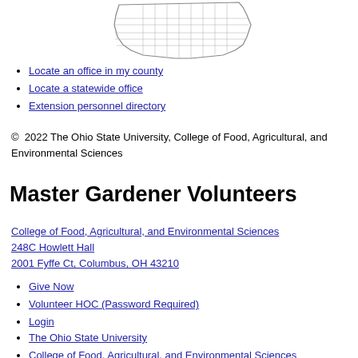[Figure (map): Outline map of Ohio counties]
Locate an office in my county
Locate a statewide office
Extension personnel directory
© 2022 The Ohio State University, College of Food, Agricultural, and Environmental Sciences
Master Gardener Volunteers
College of Food, Agricultural, and Environmental Sciences
248C Howlett Hall
2001 Fyffe Ct, Columbus, OH 43210
Give Now
Volunteer HOC (Password Required)
Login
The Ohio State University
College of Food, Agricultural, and Environmental Sciences